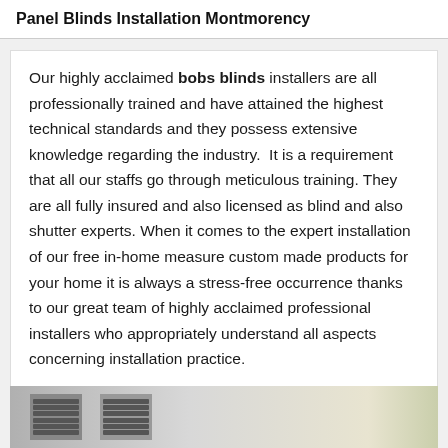Panel Blinds Installation Montmorency
Our highly acclaimed bobs blinds installers are all professionally trained and have attained the highest technical standards and they possess extensive knowledge regarding the industry.  It is a requirement that all our staffs go through meticulous training. They are all fully insured and also licensed as blind and also shutter experts. When it comes to the expert installation of our free in-home measure custom made products for your home it is always a stress-free occurrence thanks to our great team of highly acclaimed professional installers who appropriately understand all aspects concerning installation practice.
[Figure (photo): Photo of panel blinds installation, showing blinds in a home setting]